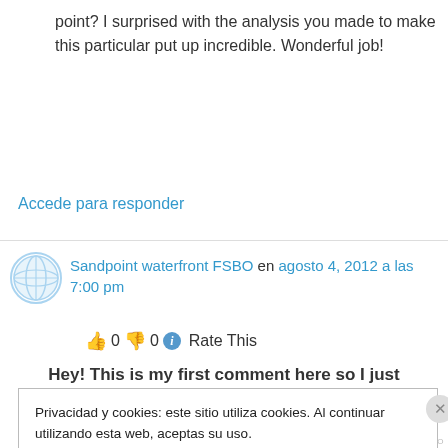point? I surprised with the analysis you made to make this particular put up incredible. Wonderful job!
Accede para responder
Sandpoint waterfront FSBO en agosto 4, 2012 a las 7:00 pm
👍 0 👎 0 ℹ Rate This
Hey! This is my first comment here so I just
Privacidad y cookies: este sitio utiliza cookies. Al continuar utilizando esta web, aceptas su uso.
Para obtener más información, incluido cómo controlar las cookies, consulta aquí: Política de cookies
Cerrar y aceptar
INFORMA SOBRE ESTE ANUNCIO